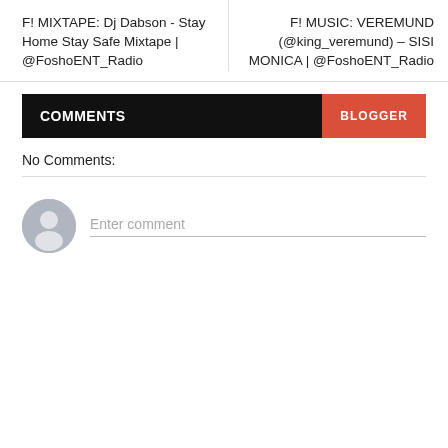F! MIXTAPE: Dj Dabson - Stay Home Stay Safe Mixtape | @FoshoENT_Radio
F! MUSIC: VEREMUND (@king_veremund) – SISI MONICA | @FoshoENT_Radio
COMMENTS
BLOGGER
No Comments:
[Figure (illustration): User avatar placeholder circle with person silhouette icon]
Enter comment